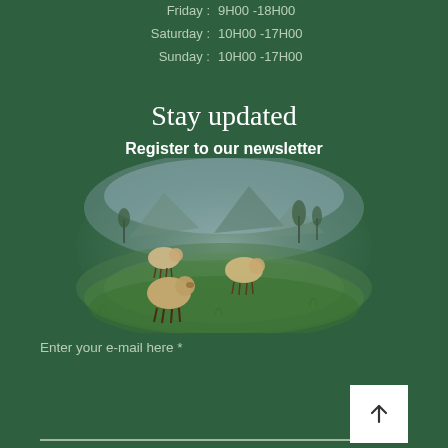Friday : 9H00 -18H00
Saturday : 10H00 -17H00
Sunday : 10H00 -17H00
Stay updated
Register to our newsletter
[Figure (illustration): Watercolor illustration of sheep grazing in a green meadow with mountains and trees in the background]
Enter your e-mail here *
Register